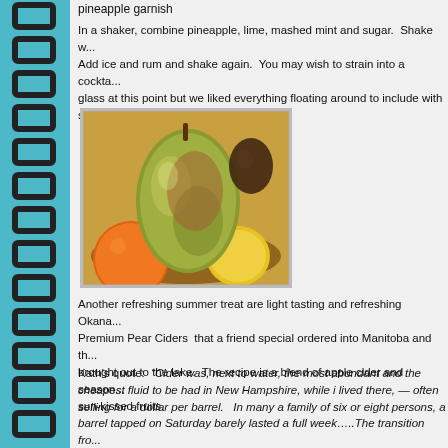pineapple garnish
In a shaker, combine pineapple, lime, mashed mint and sugar.  Shake w... Add ice and rum and shake again.  You may wish to strain into a cockta... glass at this point but we liked everything floating around to include with sips.  Top with soda and stir.  Garnish.
[Figure (photo): A bowl of fresh fruits including a large pear, an orange, and a yellow fruit, photographed close-up.]
Another refreshing summer treat are light tasting and refreshing Okana... Premium Pear Ciders  that a friend special ordered into Manitoba and th... brought out to the lake.  The recipe is a blend of apple cider and season sun-kissed fruits.
Kath's quote:  "Cider was, next to water, the most abundant and the cheapest fluid to be had in New Hampshire, while i lived there, — often selling for a dollar per barrel.   In many a family of six or eight persons, a barrel tapped on Saturday barely lasted a full week…..The transition fro... cider to warmer and more potent stimulants was easy and natural; so th... whole families died drunkards and vagabond paupers from the impetus